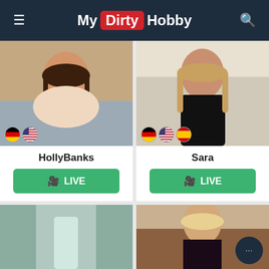My Dirty Hobby
[Figure (photo): Profile photo of HollyBanks with German and US flag indicators]
[Figure (photo): Profile photo of Sara with German, US, and Spanish flag indicators]
HollyBanks
LIVE
Sara
LIVE
[Figure (photo): Partial profile photo bottom left]
[Figure (photo): Partial profile photo bottom right with blonde woman]